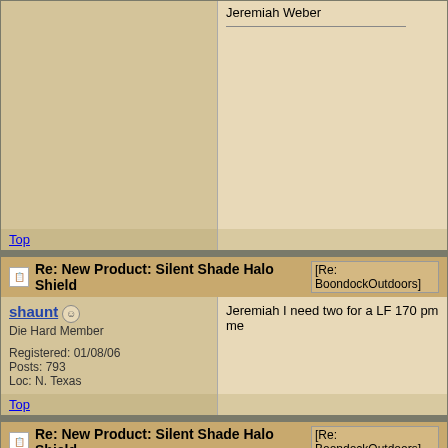Jeremiah Weber
Top
Re: New Product: Silent Shade Halo Shield [Re: BoondockOutdoors]
shaunt
Die Hard Member
Registered: 01/08/06
Posts: 793
Loc: N. Texas
Jeremiah I need two for a LF 170 pm me
Top
Re: New Product: Silent Shade Halo Shield [Re: BoondockOutdoors]
orrbull48
Die Hard Member II
Registered: 01/26/07
Posts: 1233
Loc: Amarillo Texas
Have any more for the lf 240?

Sitka Gear Ambassador

"I never saw a wild thing sorry for itself. A
~D.H. Lawrence

"invisible souls leave 308 holes"
Top